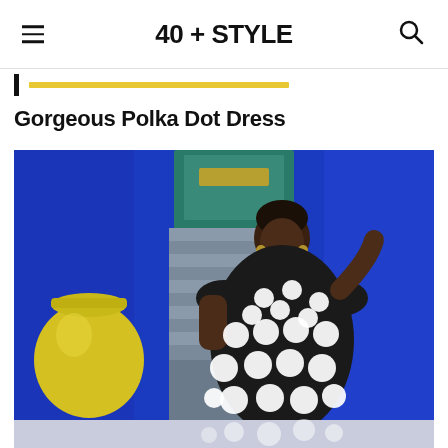40 + STYLE
Gorgeous Polka Dot Dress
[Figure (photo): A woman wearing a black and white polka dot dress standing in front of a vibrant blue wall with stairs, with a large yellow pot/vase to the left. The setting appears to be a colorful garden or courtyard.]